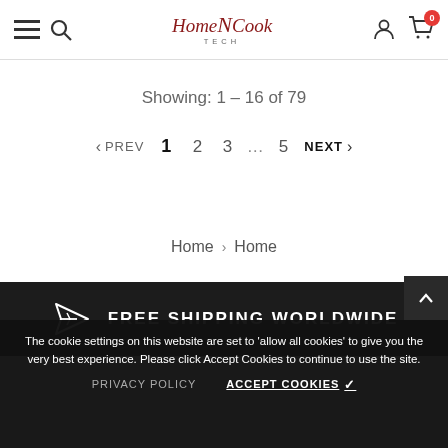HomeNCook TECH — navigation header with hamburger menu, search, logo, user icon, cart (0)
Showing: 1 – 16 of 79
< PREV  1  2  3  …  5  NEXT >
Home > Home
FREE SHIPPING WORLDWIDE
The cookie settings on this website are set to 'allow all cookies' to give you the very best experience. Please click Accept Cookies to continue to use the site.
PRIVACY POLICY    ACCEPT COOKIES ✓